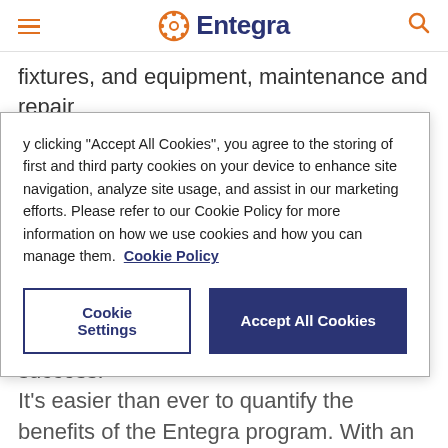Entegra
fixtures, and equipment, maintenance and repair
By clicking “Accept All Cookies”, you agree to the storing of first and third party cookies on your device to enhance site navigation, analyze site usage, and assist in our marketing efforts. Please refer to our Cookie Policy for more information on how we use cookies and how you can manage them. Cookie Policy
success.”
It’s easier than ever to quantify the benefits of the Entegra program. With an exclusive digital platform, Entegra PurchasingIQ, members can track their food spend and identify opportunities to maximize savings, putting them in the driver’s